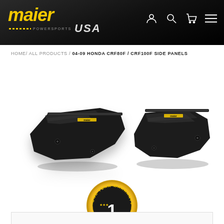Maier USA Powersports - header with logo and navigation icons
HOME / ALL PRODUCTS / 04-09 HONDA CRF80F / CRF100F SIDE PANELS
[Figure (photo): Two black plastic side panels for 04-09 Honda CRF80F / CRF100F, shown as a pair side by side on white background with subtle shadow]
[Figure (other): Gold and black circular badge reading ONE YEAR WARRANTY with a large 1 and the word YEAR, decorated with stars]